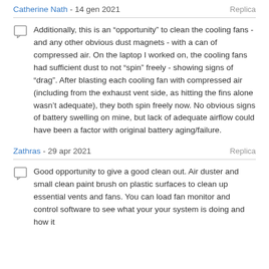Catherine Nath - 14 gen 2021   Replica
Additionally, this is an “opportunity” to clean the cooling fans - and any other obvious dust magnets - with a can of compressed air. On the laptop I worked on, the cooling fans had sufficient dust to not “spin” freely - showing signs of “drag”. After blasting each cooling fan with compressed air (including from the exhaust vent side, as hitting the fins alone wasn’t adequate), they both spin freely now. No obvious signs of battery swelling on mine, but lack of adequate airflow could have been a factor with original battery aging/failure.
Zathras - 29 apr 2021   Replica
Good opportunity to give a good clean out. Air duster and small clean paint brush on plastic surfaces to clean up essential vents and fans. You can load fan monitor and control software to see what your your system is doing and how it